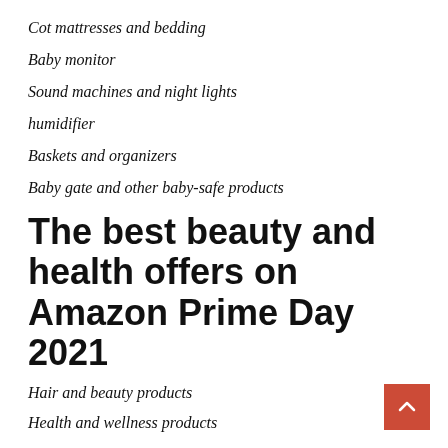Cot mattresses and bedding
Baby monitor
Sound machines and night lights
humidifier
Baskets and organizers
Baby gate and other baby-safe products
The best beauty and health offers on Amazon Prime Day 2021
Hair and beauty products
Health and wellness products